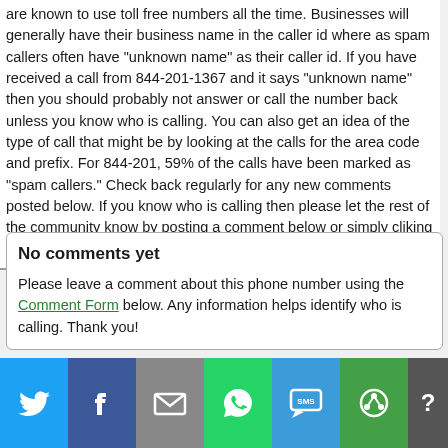are known to use toll free numbers all the time. Businesses will generally have their business name in the caller id where as spam callers often have "unknown name" as their caller id. If you have received a call from 844-201-1367 and it says "unknown name" then you should probably not answer or call the number back unless you know who is calling. You can also get an idea of the type of call that might be by looking at the calls for the area code and prefix. For 844-201, 59% of the calls have been marked as "spam callers." Check back regularly for any new comments posted below. If you know who is calling then please let the rest of the community know by posting a comment below or simply cliking on the "safe to answer" or "spam" buttons below.
No comments yet
Please leave a comment about this phone number using the Comment Form below. Any information helps identify who is calling. Thank you!
Twitter | Facebook | Email | WhatsApp | SMS | Share | More